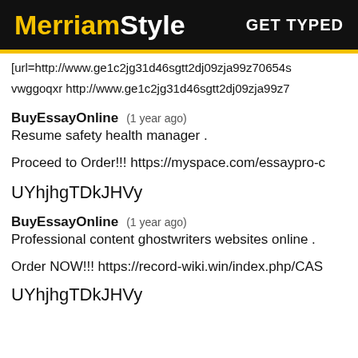MerriamStyle  GET TYPED
[url=http://www.ge1c2jg31d46sgtt2dj09zja99z70654s vwggoqxr http://www.ge1c2jg31d46sgtt2dj09zja99z7
BuyEssayOnline  (1 year ago)
Resume safety health manager .
Proceed to Order!!! https://myspace.com/essaypro-c
UYhjhgTDkJHVy
BuyEssayOnline  (1 year ago)
Professional content ghostwriters websites online .
Order NOW!!! https://record-wiki.win/index.php/CAS
UYhjhgTDkJHVy